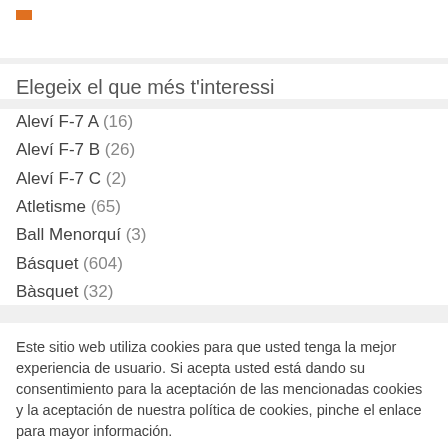Elegeix el que més t'interessi
Aleví F-7 A (16)
Aleví F-7 B (26)
Aleví F-7 C (2)
Atletisme (65)
Ball Menorquí (3)
Básquet (604)
Bàsquet (32)
Este sitio web utiliza cookies para que usted tenga la mejor experiencia de usuario. Si acepta usted está dando su consentimiento para la aceptación de las mencionadas cookies y la aceptación de nuestra política de cookies, pinche el enlace para mayor información.
CONFIGURACIÓN   ACEPTAR